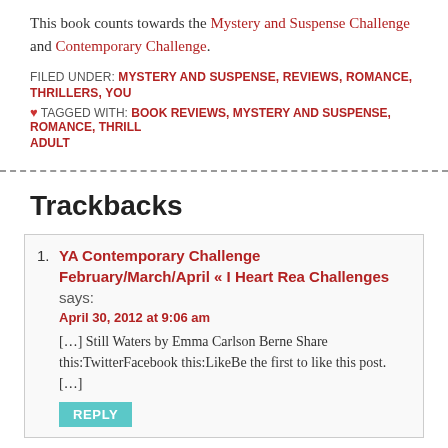This book counts towards the Mystery and Suspense Challenge and Contemporary Challenge.
FILED UNDER: MYSTERY AND SUSPENSE, REVIEWS, ROMANCE, THRILLERS, YOU
♥ TAGGED WITH: BOOK REVIEWS, MYSTERY AND SUSPENSE, ROMANCE, THRILL ADULT
Trackbacks
1. YA Contemporary Challenge February/March/April « I Heart Rea Challenges says: April 30, 2012 at 9:06 am [...] Still Waters by Emma Carlson Berne Share this:TwitterFacebook this:LikeBe the first to like this post. [...]